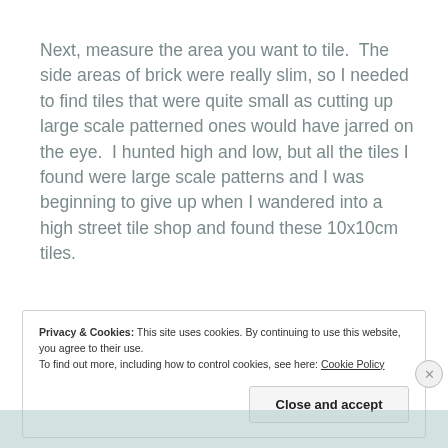Next, measure the area you want to tile.  The side areas of brick were really slim, so I needed to find tiles that were quite small as cutting up large scale patterned ones would have jarred on the eye.  I hunted high and low, but all the tiles I found were large scale patterns and I was beginning to give up when I wandered into a high street tile shop and found these 10x10cm tiles.
Privacy & Cookies: This site uses cookies. By continuing to use this website, you agree to their use.
To find out more, including how to control cookies, see here: Cookie Policy
Close and accept